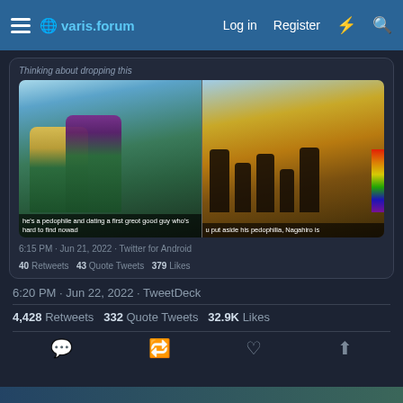varis.forum  Log in  Register
Thinking about dropping this
[Figure (screenshot): Anime screenshot split image: left side shows two anime characters (blonde and purple-haired) in green school uniforms, right side shows silhouettes of characters on a beach at sunset. Subtitles visible at bottom.]
he's a pedophile and dating a first greé good guy who's hard to find nowad
u put aside his pedophilia, Nagahiro is
6:15 PM · Jun 21, 2022 · Twitter for Android
40 Retweets  43 Quote Tweets  379 Likes
6:20 PM · Jun 22, 2022 · TweetDeck
4,428 Retweets  332 Quote Tweets  32.9K Likes